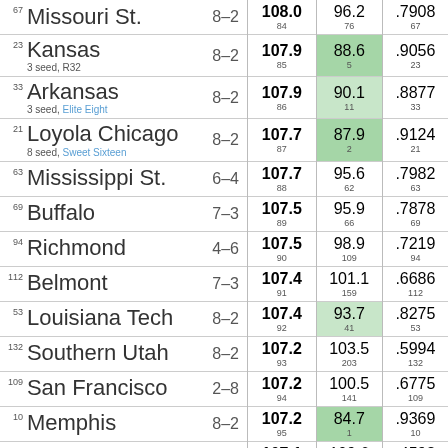| Rank | Team | Record | Off Eff | Def Eff | Win% |
| --- | --- | --- | --- | --- | --- |
| 67 | Missouri St. | 8–2 | 108.0 (84) | 96.2 (76) | .7908 (67) |
| 23 | Kansas 3 seed, R32 | 8–2 | 107.9 (85) | 88.6 (5) | .9056 (23) |
| 33 | Arkansas 3 seed, Elite Eight | 8–2 | 107.9 (86) | 90.1 (11) | .8877 (33) |
| 21 | Loyola Chicago 8 seed, Sweet Sixteen | 8–2 | 107.7 (87) | 87.9 (2) | .9124 (21) |
| 63 | Mississippi St. | 6–4 | 107.7 (88) | 95.6 (62) | .7982 (63) |
| 69 | Buffalo | 7–3 | 107.5 (89) | 95.9 (66) | .7878 (69) |
| 94 | Richmond | 4–6 | 107.5 (90) | 98.9 (109) | .7219 (94) |
| 112 | Belmont | 7–3 | 107.4 (91) | 101.1 (159) | .6686 (112) |
| 53 | Louisiana Tech | 8–2 | 107.4 (92) | 93.7 (41) | .8275 (53) |
| 132 | Southern Utah | 8–2 | 107.2 (93) | 103.5 (203) | .5994 (132) |
| 109 | San Francisco | 2–8 | 107.2 (94) | 100.5 (141) | .6775 (109) |
| 10 | Memphis | 8–2 | 107.2 (95) | 84.7 (1) | .9369 (10) |